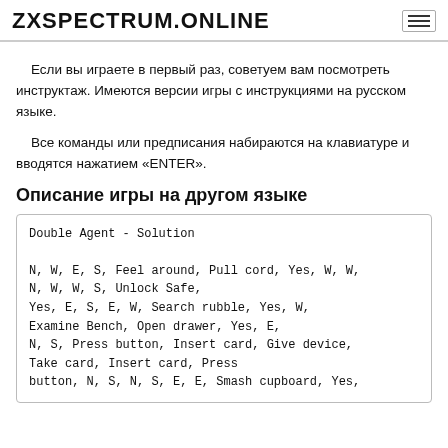ZXSPECTRUM.ONLINE
Если вы играете в первый раз, советуем вам посмотреть инструктаж. Имеются версии игры с инструкциями на русском языке.
Все команды или предписания набираются на клавиатуре и вводятся нажатием «ENTER».
Описание игры на другом языке
Double Agent - Solution

N, W, E, S, Feel around, Pull cord, Yes, W, W,
N, W, W, S, Unlock Safe,
Yes, E, S, E, W, Search rubble, Yes, W,
Examine Bench, Open drawer, Yes, E,
N, S, Press button, Insert card, Give device,
Take card, Insert card, Press
button, N, S, N, S, E, E, Smash cupboard, Yes,